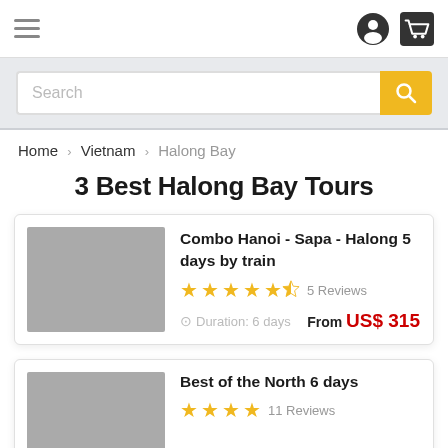Navigation header with hamburger menu and user/cart icons
Search
Home › Vietnam › Halong Bay
3 Best Halong Bay Tours
Combo Hanoi - Sapa - Halong 5 days by train — 5 Reviews — Duration: 6 days — From US$ 315
Best of the North 6 days — 11 Reviews